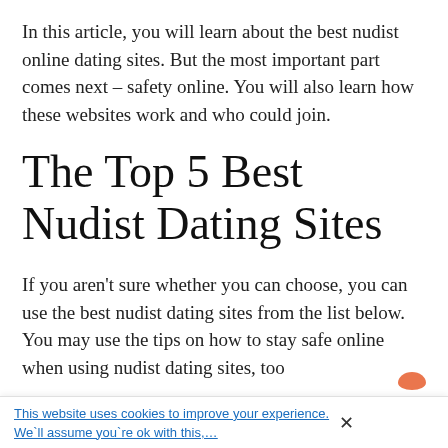In this article, you will learn about the best nudist online dating sites. But the most important part comes next – safety online. You will also learn how these websites work and who could join.
The Top 5 Best Nudist Dating Sites
If you aren't sure whether you can choose, you can use the best nudist dating sites from the list below. You may use the tips on how to stay safe online when using nudist dating sites, too
This website uses cookies to improve your experience. We`ll assume you`re ok with this,...